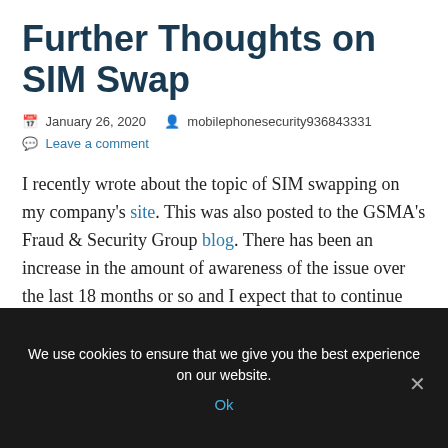Further Thoughts on SIM Swap
January 26, 2020   mobilephonesecurity936843331
Leave a comment
I recently wrote about the topic of SIM swapping on my company's site. This was also posted to the GSMA's Fraud & Security Group blog. There has been an increase in the amount of awareness of the issue over the last 18 months or so and I expect that to continue throughout 2020. Some factors are driving it – the recently published Princeton
We use cookies to ensure that we give you the best experience on our website.
Ok